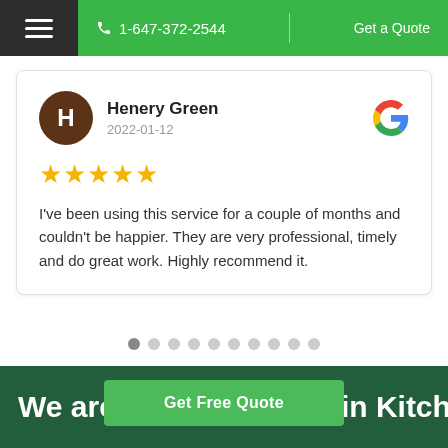1-647-372-2544 | Get a Quote
Henery Green
2022-01-12
★★★★★
I've been using this service for a couple of months and couldn't be happier. They are very professional, timely and do great work. Highly recommend it.
Google rating score: 5 of 5, based on 17 reviews.
We are proud to serve in Kitchener,
Get Free Quote